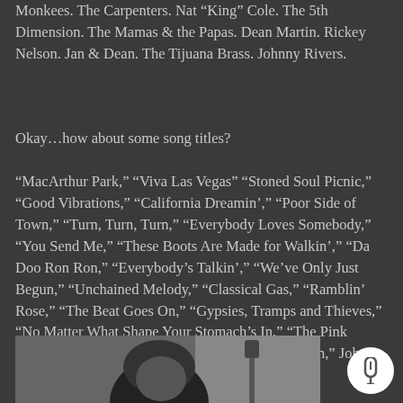Monkees. The Carpenters. Nat “King” Cole. The 5th Dimension. The Mamas & the Papas. Dean Martin. Rickey Nelson. Jan & Dean. The Tijuana Brass. Johnny Rivers.
Okay…how about some song titles?
“MacArthur Park,” “Viva Las Vegas” “Stoned Soul Picnic,” “Good Vibrations,” “California Dreamin’,” “Poor Side of Town,” “Turn, Turn, Turn,” “Everybody Loves Somebody,” “You Send Me,” “These Boots Are Made for Walkin’,” “Da Doo Ron Ron,” “Everybody’s Talkin’,” “We’ve Only Just Begun,” “Unchained Melody,” “Classical Gas,” “Ramblin’ Rose,” “The Beat Goes On,” “Gypsies, Tramps and Thieves,” “No Matter What Shape Your Stomach’s In,” “The Pink Panther Theme,” “Hawaii 5-0,” “Eve of Destruction,” Johnny Angel” — again, just to name only a few.
[Figure (photo): Black and white photograph of a person, partially visible, showing the head and upper area of a figure against a light background with what appears to be a microphone or stand nearby.]